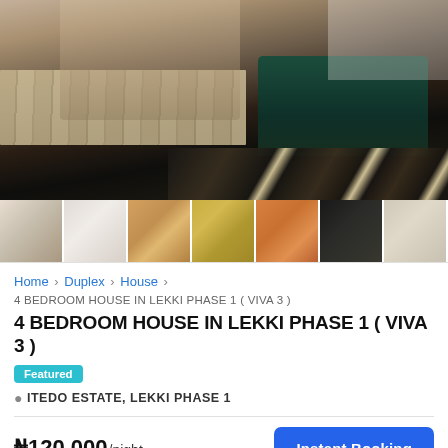[Figure (photo): Main interior bedroom photo showing wooden floor, green upholstered bench at foot of bed, and patterned rug]
[Figure (photo): Row of 7 thumbnail images of various rooms in the property]
Home > Duplex > House >
4 BEDROOM HOUSE IN LEKKI PHASE 1 ( VIVA 3 )
4 BEDROOM HOUSE IN LEKKI PHASE 1 ( VIVA 3 )
Featured
ITEDO ESTATE, LEKKI PHASE 1
₦120,000/night
Instant Booking